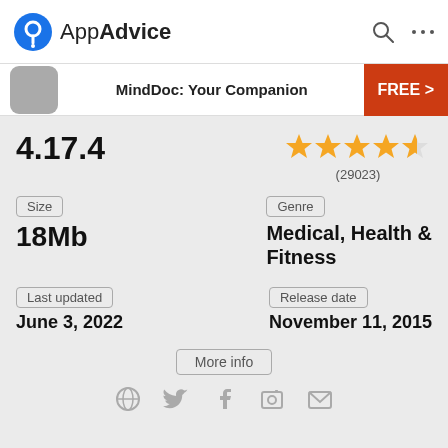AppAdvice
MindDoc: Your Companion
FREE >
4.17.4
[Figure (other): Star rating: 4 full stars and 1 half star, rating count (29023)]
(29023)
Size
18Mb
Genre
Medical, Health & Fitness
Last updated
June 3, 2022
Release date
November 11, 2015
More info
[Figure (other): Social media icons row: globe, Twitter, Facebook, camera/photo, envelope]